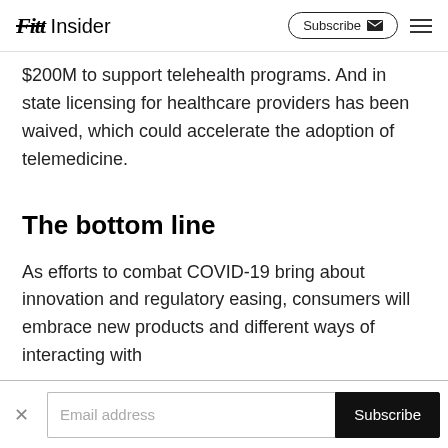Fitt Insider | Subscribe ✉ ☰
$200M to support telehealth programs. And in state licensing for healthcare providers has been waived, which could accelerate the adoption of telemedicine.
The bottom line
As efforts to combat COVID-19 bring about innovation and regulatory easing, consumers will embrace new products and different ways of interacting with
Email address | Subscribe